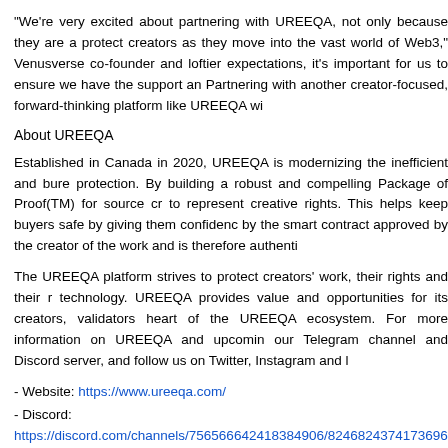"We're very excited about partnering with UREEQA, not only because they are a protect creators as they move into the vast world of Web3," Venusverse co-founder and loftier expectations, it's important for us to ensure we have the support an Partnering with another creator-focused, forward-thinking platform like UREEQA wi
About UREEQA
Established in Canada in 2020, UREEQA is modernizing the inefficient and bure protection. By building a robust and compelling Package of Proof(TM) for source cr to represent creative rights. This helps keep buyers safe by giving them confidenc by the smart contract approved by the creator of the work and is therefore authenti
The UREEQA platform strives to protect creators' work, their rights and their r technology. UREEQA provides value and opportunities for its creators, validators heart of the UREEQA ecosystem. For more information on UREEQA and upcomin our Telegram channel and Discord server, and follow us on Twitter, Instagram and l
- Website: https://www.ureeqa.com/
- Discord: https://discord.com/channels/756566642418384906/8246824374173696
- Instagram: https://www.instagram.com/ureeqa_inc/